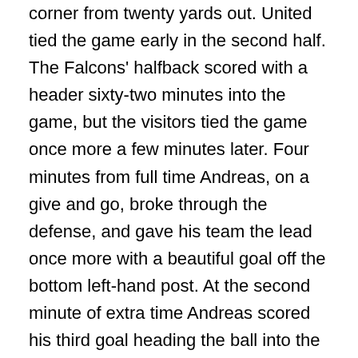corner from twenty yards out. United tied the game early in the second half. The Falcons' halfback scored with a header sixty-two minutes into the game, but the visitors tied the game once more a few minutes later. Four minutes from full time Andreas, on a give and go, broke through the defense, and gave his team the lead once more with a beautiful goal off the bottom left-hand post. At the second minute of extra time Andreas scored his third goal heading the ball into the net from a corner kick. The fans went wild shouting his name and singing the team's song. Olivia and her friends had enjoyed every second of the game. She listened with interest to her friends raving about the handsome, highly skilled striker. While she had not voiced her opinion of him to her friends, she did find him attractive in every way. She had marveled at his skill, liked the respect he showed to his opponents, the way he